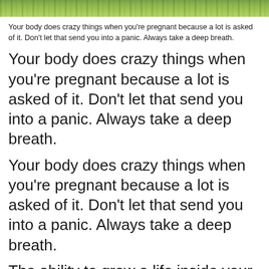[Figure (photo): Top portion of an outdoor photo showing green grass and flowers/plants in the background]
Your body does crazy things when you're pregnant because a lot is asked of it. Don't let that send you into a panic. Always take a deep breath.
Your body does crazy things when you're pregnant because a lot is asked of it. Don't let that send you into a panic. Always take a deep breath.
Your body does crazy things when you're pregnant because a lot is asked of it. Don't let that send you into a panic. Always take a deep breath.
The ability to grow a life inside your own body is an incredible miracle. But, it is also a lot of hard work – emotionally and physically.